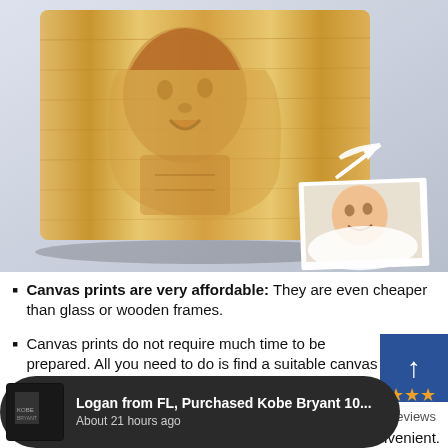[Figure (photo): A wood plaque with a laser-engraved baby photo, alongside the original small color photo of a laughing baby, connected by a white arrow]
Canvas prints are very affordable: They are even cheaper than glass or wooden frames.
Canvas prints do not require much time to be prepared. All you need to do is find a suitable canvas digital printing
Logan from FL, Purchased Kobe Bryant 10... About 21 hours ago
★★★★ er Reviews
convenient.